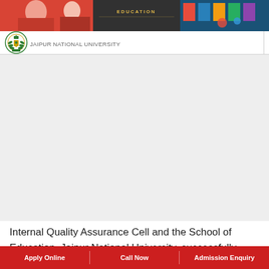[Figure (photo): University website header banner with images of students and 'EDUCATION' text overlay, red and colorful imagery]
[Figure (logo): Jaipur National University seal/emblem logo in green and gold]
JAIPUR NATIONAL UNIVERSITY
[Figure (photo): Large empty/gray content area representing a webinar or university content section]
Internal Quality Assurance Cell and the School of Education, Jaipur National University, successfully organized a one-day webinar on the theme “Role of NSS volunteers for public
Apply Online   |   Call Now   |   Admission Enquiry